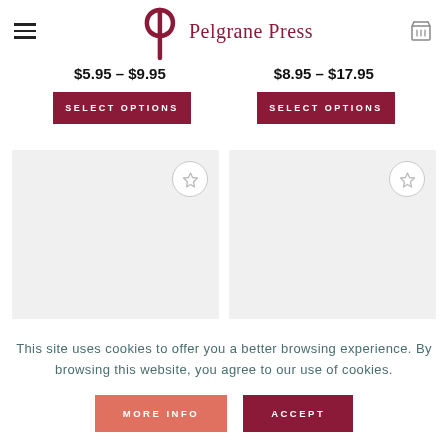Pelgrane Press
$5.95 – $9.95
$8.95 – $17.95
SELECT OPTIONS
SELECT OPTIONS
[Figure (other): Two product image placeholder cards with wishlist star icons]
This site uses cookies to offer you a better browsing experience. By browsing this website, you agree to our use of cookies.
MORE INFO
ACCEPT